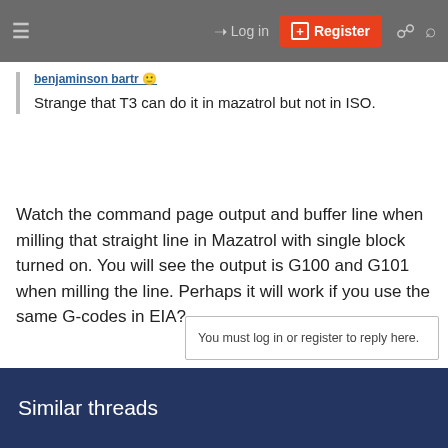Log in | Register
benjaminson bartr
Strange that T3 can do it in mazatrol but not in ISO.
Watch the command page output and buffer line when milling that straight line in Mazatrol with single block turned on. You will see the output is G100 and G101 when milling the line. Perhaps it will work if you use the same G-codes in EIA?
You must log in or register to reply here.
Similar threads